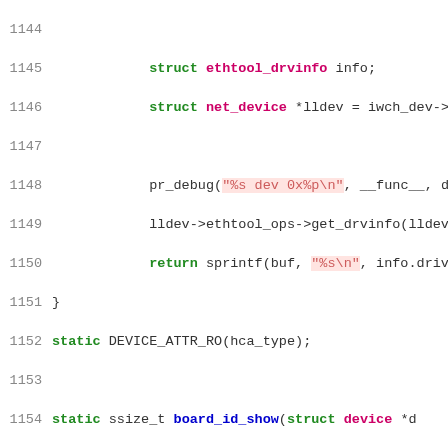[Figure (screenshot): Source code snippet showing C code for Linux kernel driver functions including hca_type_show and board_id_show, with line numbers 1144-1170. Uses syntax highlighting with green keywords, blue function names, red strings, and pink/magenta type names.]